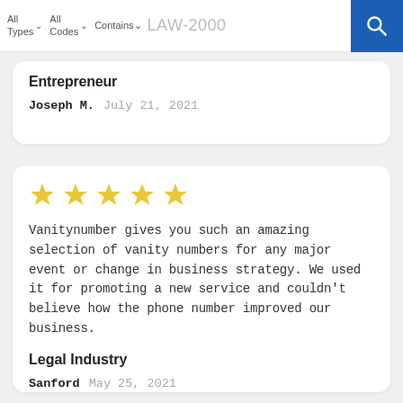All Types | All Codes | Contains | LAW-2000
Entrepreneur
Joseph M.   July 21, 2021
[Figure (other): Five gold stars rating]
Vanitynumber gives you such an amazing selection of vanity numbers for any major event or change in business strategy. We used it for promoting a new service and couldn't believe how the phone number improved our business.
Legal Industry
Sanford   May 25, 2021